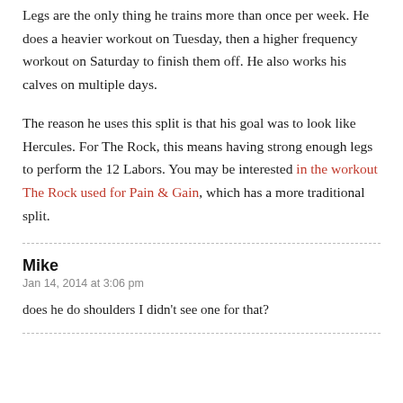Legs are the only thing he trains more than once per week. He does a heavier workout on Tuesday, then a higher frequency workout on Saturday to finish them off. He also works his calves on multiple days.
The reason he uses this split is that his goal was to look like Hercules. For The Rock, this means having strong enough legs to perform the 12 Labors. You may be interested in the workout The Rock used for Pain & Gain, which has a more traditional split.
Mike
Jan 14, 2014 at 3:06 pm
does he do shoulders I didn't see one for that?